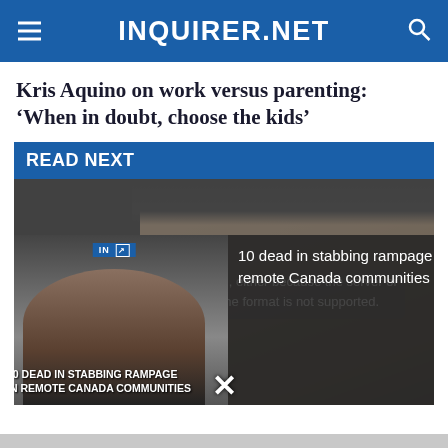INQUIRER.NET
Kris Aquino on work versus parenting: ‘When in doubt, choose the kids’
READ NEXT
[Figure (photo): Close-up photo of a person wearing glasses, with dark background. Below: floating video overlay showing '10 DEAD IN STABBING RAMPAGE IN REMOTE CANADA COMMUNITIES' with a media error message: 'The media could not be loaded, either because the server or network failed or because the format is not supported.']